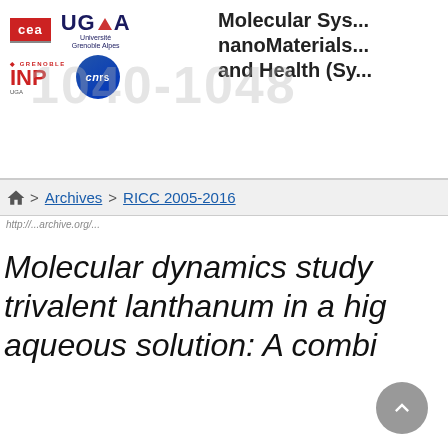[Figure (logo): CEA, UGA (Université Grenoble Alpes), Grenoble INP UGA, and CNRS logos arranged in two rows]
Molecular Systems Chemical Physics nanoMaterials and Health (Sy...
1040-1048
🏠 > Archives > RICC 2005-2016
Molecular dynamics study ... trivalent lanthanum in a hig... aqueous solution: A combi...